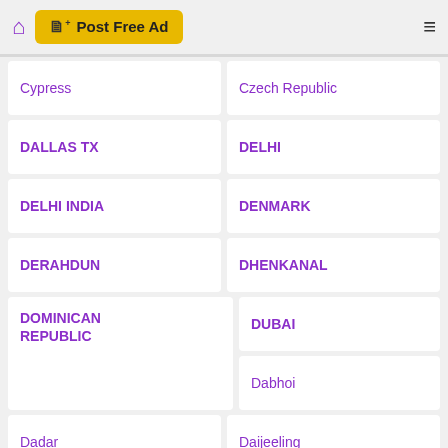Post Free Ad
Cypress
Czech Republic
DALLAS TX
DELHI
DELHI INDIA
DENMARK
DERAHDUN
DHENKANAL
DOMINICAN REPUBLIC
DUBAI
Dabhoi
Dadar
Daijeeling
Dakhin Dinajpur
Dalas Texas
Dalj